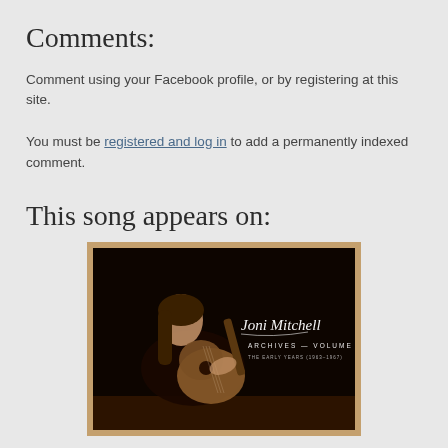Comments:
Comment using your Facebook profile, or by registering at this site.
You must be registered and log in to add a permanently indexed comment.
This song appears on:
[Figure (photo): Album cover for Joni Mitchell Archives - Volume 1: The Early Years (1963-1967), showing a black and white/sepia photo of a young woman playing acoustic guitar, with cursive text overlay reading 'Joni Mitchell Archives - Volume 1 The Early Years (1963-1967)']